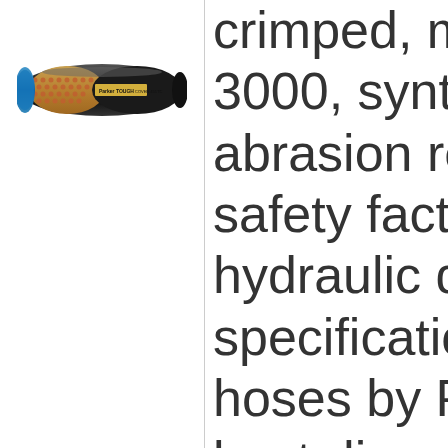[Figure (photo): Parker TOUGH COVER 451TC hydraulic hose, shown at an angle revealing the inner braid reinforcement with a copper/gold lattice pattern and blue end, black outer cover with Parker branding label.]
crimped, m 3000, synt abrasion r safety fact hydraulic d specificatio hoses by P best disco Manufactu 451TC-10- S401000